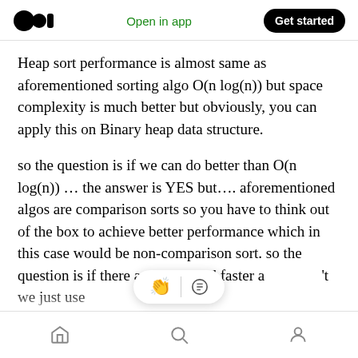Open in app | Get started
Heap sort performance is almost same as aforementioned sorting algo O(n log(n)) but space complexity is much better but obviously, you can apply this on Binary heap data structure.
so the question is if we can do better than O(n log(n)) … the answer is YES but…. aforementioned algos are comparison sorts so you have to think out of the box to achieve better performance which in this case would be non-comparison sort. so the question is if there are better and faster a…'t we just use them, the answer is not mere also is universally